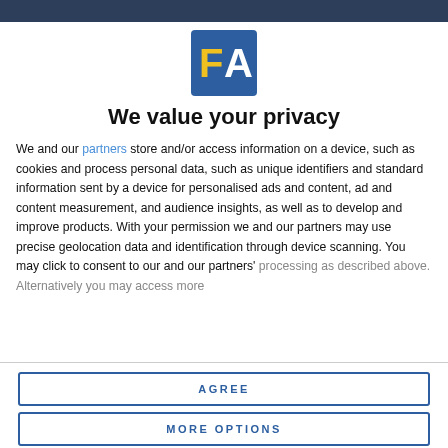[Figure (logo): FA logo: blue square background with yellow letter F and white letter A]
We value your privacy
We and our partners store and/or access information on a device, such as cookies and process personal data, such as unique identifiers and standard information sent by a device for personalised ads and content, ad and content measurement, and audience insights, as well as to develop and improve products. With your permission we and our partners may use precise geolocation data and identification through device scanning. You may click to consent to our and our partners' processing as described above. Alternatively you may access more
AGREE
MORE OPTIONS